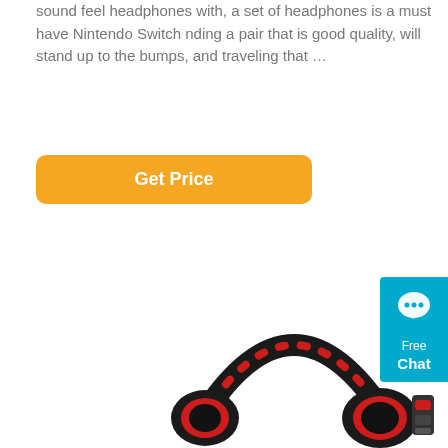sound feel headphones with, a set of headphones is a must have Nintendo Switch nding a pair that is good quality, will stand up to the bumps, and traveling that …
[Figure (other): Orange 'Get Price' button]
[Figure (other): Blue 'Free Chat' widget in upper right corner with speech bubble icon]
[Figure (photo): Black and red gaming headphones (SADES brand) photographed at an angle, showing the headband, ear cups with red accents, and side controls]